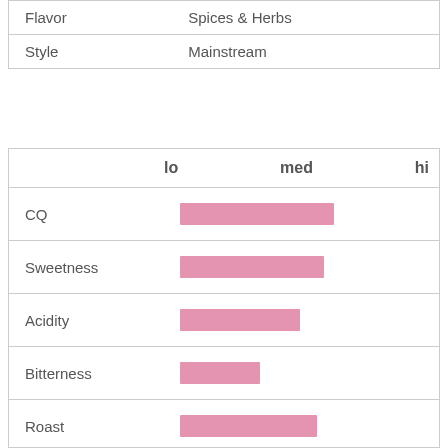|  |  |
| --- | --- |
| Flavor | Spices & Herbs |
| Style | Mainstream |
[Figure (bar-chart): Coffee Attributes]